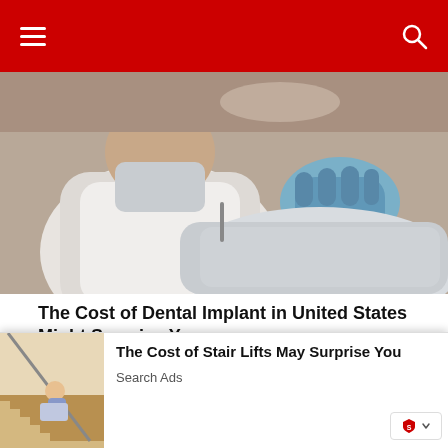Navigation bar with hamburger menu and search icon
[Figure (photo): Dental procedure photo showing a dentist in white coat and blue gloves working on a patient reclined in dental chair]
The Cost of Dental Implant in United States Might Surprise You
Search Ads
Know More
[Figure (photo): Two thumbnail images side by side: left shows Korean language stickers with OPPA text, right shows dental/medical equipment]
[Figure (photo): Overlay advertisement thumbnail showing a person on a stair lift on a staircase]
The Cost of Stair Lifts May Surprise You
Search Ads